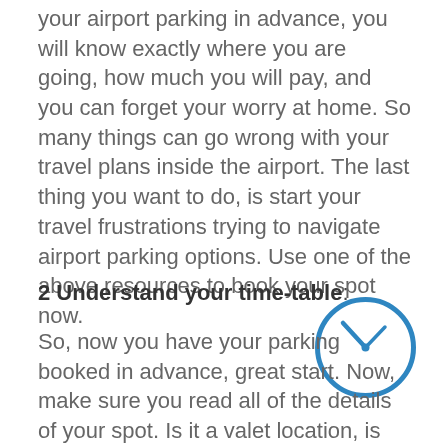your airport parking in advance, you will know exactly where you are going, how much you will pay, and you can forget your worry at home. So many things can go wrong with your travel plans inside the airport. The last thing you want to do, is start your travel frustrations trying to navigate airport parking options. Use one of the above resources to book your spot now.
2 Understand your time-table:
[Figure (illustration): A blue clock icon showing approximately 10:10 time]
So, now you have your parking booked in advance, great start. Now, make sure you read all of the details of your spot. Is it a valet location, is there a shuttle, if so, how often does the shuttle operate, are there different time schedules for off peak hours?